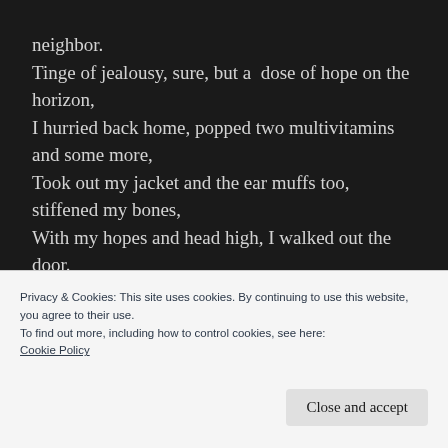neighbor.
Tinge of jealousy, sure, but a  dose of hope on the horizon,
I hurried back home, popped two multivitamins and some more,
Took out my jacket and the ear muffs too, stiffened my bones,
With my hopes and head high, I walked out the door.
Privacy & Cookies: This site uses cookies. By continuing to use this website, you agree to their use.
To find out more, including how to control cookies, see here:
Cookie Policy
Close and accept